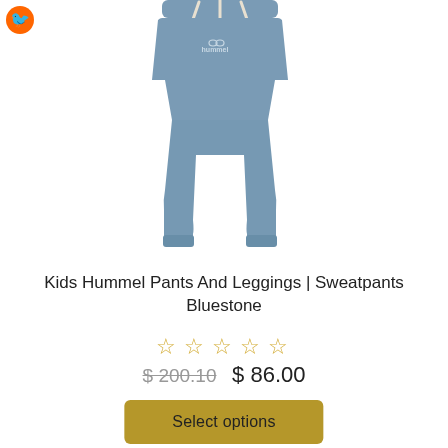[Figure (photo): Blue/slate-colored kids sweatpants (Hummel brand) with drawstring waist and cuffed ankles, shown on white background. Hummel logo visible on left leg.]
Kids Hummel Pants And Leggings | Sweatpants Bluestone
☆☆☆☆☆ (5 empty stars rating)
$ 200.10  $ 86.00
Select options